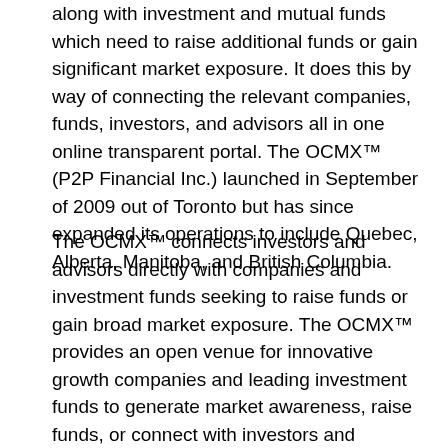along with investment and mutual funds which need to raise additional funds or gain significant market exposure. It does this by way of connecting the relevant companies, funds, investors, and advisors all in one online transparent portal. The OCMX™ (P2P Financial Inc.) launched in September of 2009 out of Toronto but has since expanded its operations to include Quebec, Alberta, Manitoba, and British Columbia.
The OCMX™ connects investors and advisors directly with companies and investment funds seeking to raise funds or gain broad market exposure. The OCMX™ provides an open venue for innovative growth companies and leading investment funds to generate market awareness, raise funds, or connect with investors and advisors. The OCMX™ provides companies, funds, investors, and advisors instant access to its Online Portal so that they can actively source and connect with their next opportunity